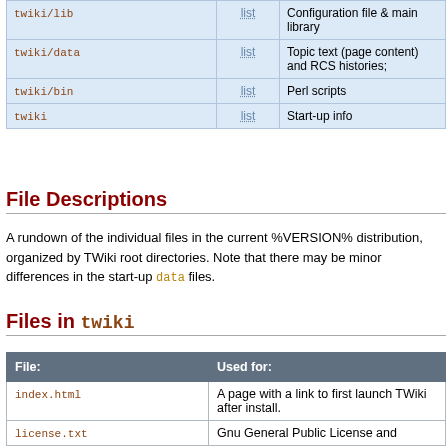|  | list |  |
| --- | --- | --- |
| twiki/lib | list | Configuration file & main library |
| twiki/data | list | Topic text (page content) and RCS histories; |
| twiki/bin | list | Perl scripts |
| twiki | list | Start-up info |
File Descriptions
A rundown of the individual files in the current %VERSION% distribution, organized by TWiki root directories. Note that there may be minor differences in the start-up data files.
Files in twiki
| File: | Used for: |
| --- | --- |
| index.html | A page with a link to first launch TWiki after install. |
| license.txt | Gnu General Public License and |